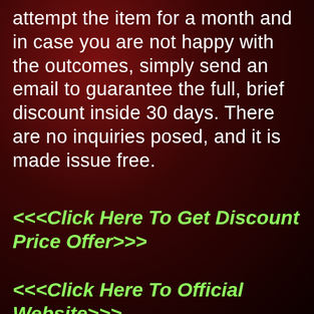attempt the item for a month and in case you are not happy with the outcomes, simply send an email to guarantee the full, brief discount inside 30 days. There are no inquiries posed, and it is made issue free.
<<<Click Here To Get Discount Price Offer>>>
<<<Click Here To Official Website>>>